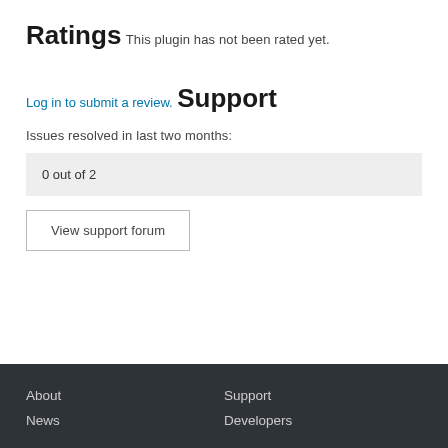Ratings
This plugin has not been rated yet.
Log in to submit a review.
Support
Issues resolved in last two months:
0 out of 2
View support forum
About  Support  News  Developers